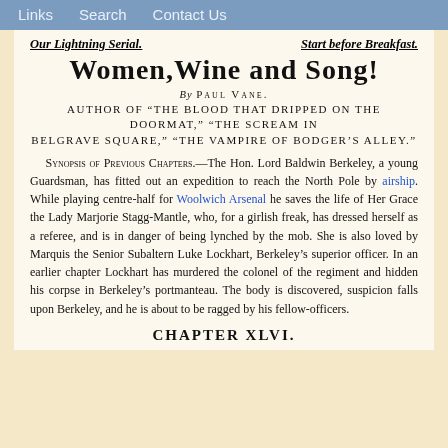Links   Search   Contact Us
Our Lightning Serial.     Start before Breakfast.
Women, Wine and Song!
By PAUL VANE.
AUTHOR OF “THE BLOOD THAT DRIPPED ON THE DOORMAT,” “THE SCREAM IN BELGRAVE SQUARE,” “THE VAMPIRE OF BODGER’S ALLEY.”
Synopsis of Previous Chapters.—The Hon. Lord Baldwin Berkeley, a young Guardsman, has fitted out an expedition to reach the North Pole by airship. While playing centre-half for Woolwich Arsenal he saves the life of Her Grace the Lady Marjorie Stagg-Mantle, who, for a girlish freak, has dressed herself as a referee, and is in danger of being lynched by the mob. She is also loved by Marquis the Senior Subaltern Luke Lockhart, Berkeley’s superior officer. In an earlier chapter Lockhart has murdered the colonel of the regiment and hidden his corpse in Berkeley’s portmanteau. The body is discovered, suspicion falls upon Berkeley, and he is about to be ragged by his fellow-officers.
CHAPTER XLVI.